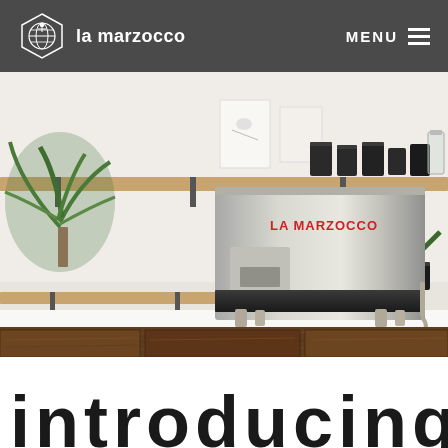la marzocco  MENU
[Figure (photo): A La Marzocco espresso machine on a white counter in a modern café. Behind it are wooden shelves stocked with black canisters and colourful bottles, plants, and art prints on a white wall. The counter below is dark walnut wood with drawer fronts visible at bottom.]
introducing...